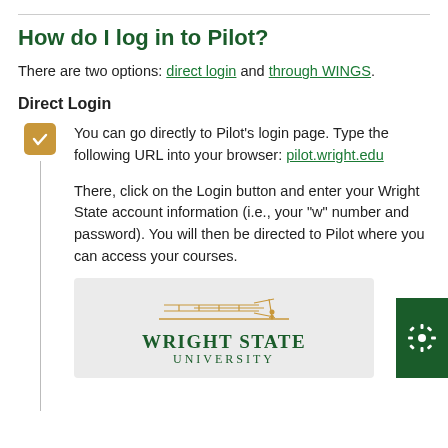How do I log in to Pilot?
There are two options: direct login and through WINGS.
Direct Login
You can go directly to Pilot's login page. Type the following URL into your browser: pilot.wright.edu

There, click on the Login button and enter your Wright State account information (i.e., your "w" number and password). You will then be directed to Pilot where you can access your courses.
[Figure (logo): Wright State University logo with Wright Brothers airplane illustration in gold, text reads WRIGHT STATE UNIVERSITY in dark green serif font on a light gray background. Partially visible green button with gear/snowflake icon at right edge.]